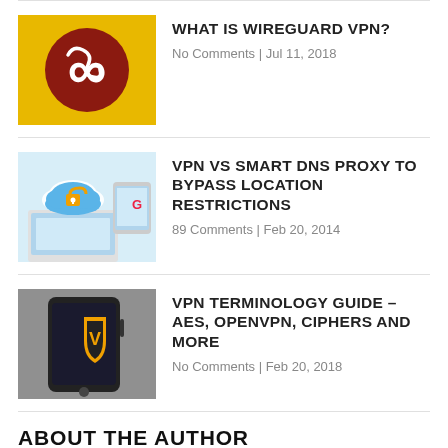[Figure (logo): WireGuard VPN yellow/gold logo with dragon/serpent on dark red circle]
WHAT IS WIREGUARD VPN?
No Comments | Jul 11, 2018
[Figure (illustration): VPN cloud and lock illustration with laptop and tablet]
VPN VS SMART DNS PROXY TO BYPASS LOCATION RESTRICTIONS
89 Comments | Feb 20, 2014
[Figure (photo): Smartphone with VPN shield icon on screen]
VPN TERMINOLOGY GUIDE – AES, OPENVPN, CIPHERS AND MORE
No Comments | Feb 20, 2018
ABOUT THE AUTHOR
[Figure (photo): Photo of Charles, a young man smiling]
Charles
Streaming gadgets geek. Interested in every little thing there is to know about bypassing regional restrictions. An avid believer in the right to protect